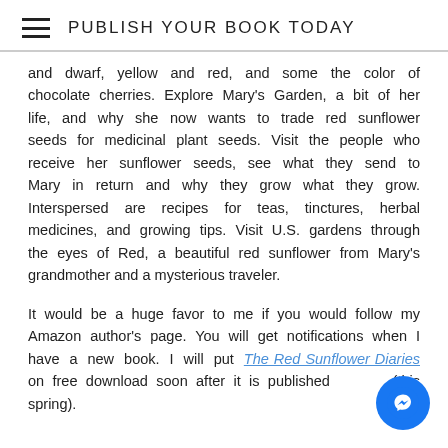PUBLISH YOUR BOOK TODAY
and dwarf, yellow and red, and some the color of chocolate cherries. Explore Mary's Garden, a bit of her life, and why she now wants to trade red sunflower seeds for medicinal plant seeds. Visit the people who receive her sunflower seeds, see what they send to Mary in return and why they grow what they grow. Interspersed are recipes for teas, tinctures, herbal medicines, and growing tips. Visit U.S. gardens through the eyes of Red, a beautiful red sunflower from Mary's grandmother and a mysterious traveler.
It would be a huge favor to me if you would follow my Amazon author's page. You will get notifications when I have a new book. I will put The Red Sunflower Diaries on free download soon after it is published (this spring).